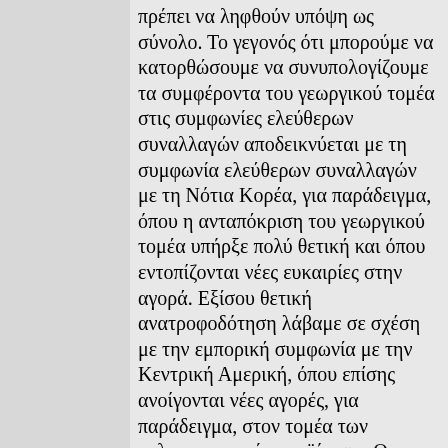πρέπει να ληφθούν υπόψη ως σύνολο. Το γεγονός ότι μπορούμε να κατορθώσουμε να συνυπολογίζουμε τα συμφέροντα του γεωργικού τομέα στις συμφωνίες ελεύθερων συναλλαγών αποδεικνύεται με τη συμφωνία ελεύθερων συναλλαγών με τη Νότια Κορέα, για παράδειγμα, όπου η ανταπόκριση του γεωργικού τομέα υπήρξε πολύ θετική και όπου εντοπίζονται νέες ευκαιρίες στην αγορά. Εξίσου θετική ανατροφοδότηση λάβαμε σε σχέση με την εμπορική συμφωνία με την Κεντρική Αμερική, όπου επίσης ανοίγονται νέες αγορές, για παράδειγμα, στον τομέα των γαλακτοκομικών προϊόντων. Θα ήμουν ευγνώμων εάν η Επιτροπή ενέτεινε τις προσπάθειές της κατά τις προσεχείς εβδομάδες, ούτως ώστε να ληφθούν υπόψη όλα τα συμφέροντα, ήτοι της βιομηχανίας